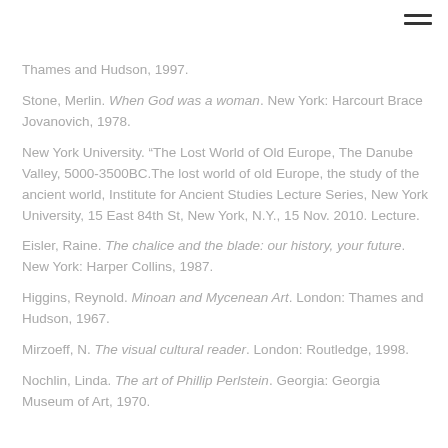Thames and Hudson, 1997.
Stone, Merlin. When God was a woman. New York: Harcourt Brace Jovanovich, 1978.
New York University. “The Lost World of Old Europe, The Danube Valley, 5000-3500BC.The lost world of old Europe, the study of the ancient world, Institute for Ancient Studies Lecture Series, New York University, 15 East 84th St, New York, N.Y., 15 Nov. 2010. Lecture.
Eisler, Raine. The chalice and the blade: our history, your future. New York: Harper Collins, 1987.
Higgins, Reynold. Minoan and Mycenean Art. London: Thames and Hudson, 1967.
Mirzoeff, N. The visual cultural reader. London: Routledge, 1998.
Nochlin, Linda. The art of Phillip Perlstein. Georgia: Georgia Museum of Art, 1970.